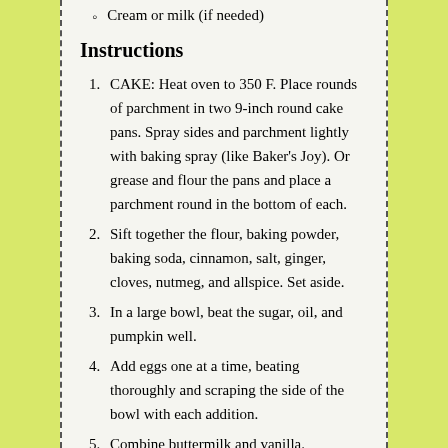Cream or milk (if needed)
Instructions
CAKE: Heat oven to 350 F. Place rounds of parchment in two 9-inch round cake pans. Spray sides and parchment lightly with baking spray (like Baker's Joy). Or grease and flour the pans and place a parchment round in the bottom of each.
Sift together the flour, baking powder, baking soda, cinnamon, salt, ginger, cloves, nutmeg, and allspice. Set aside.
In a large bowl, beat the sugar, oil, and pumpkin well.
Add eggs one at a time, beating thoroughly and scraping the side of the bowl with each addition.
Combine buttermilk and vanilla.
Add half of the flour mixture to the bowl and mix until incorporated. Add half of the buttermilk mixture and mix until incorporated. Scrape the sides of the bowl and repeat. Mix just until the batter is smooth.